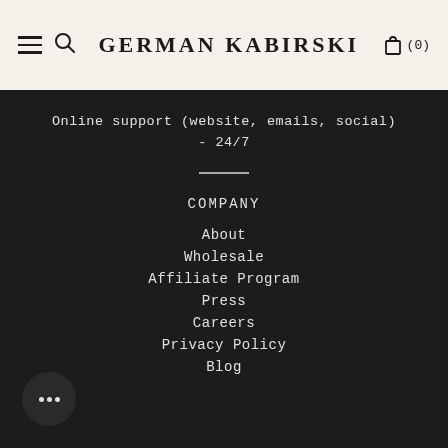GERMAN KABIRSKI
Online support (website, emails, social) - 24/7
COMPANY
About
Wholesale
Affiliate Program
Press
Careers
Privacy Policy
Blog